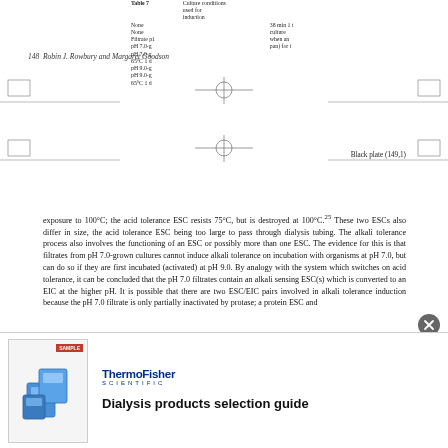| Table 7 | Culture conditions used for induction |
| --- | --- |
| None | Filtrate pH 7.0-g | pH 7.0-g | pH 7.0-g | 65°C 1 d | pH 9.0-g | pH 9.0-g | 65°C 1 d |
| None | Filtrate pH 7.0-g | Filtrate pH 7.0-g | Filtrate pH 7.0-g | 65°C 1 d | pH 9.0-g | pH 9.0-g | 65°C 1 d |
148   Robin J. Rowbury and Margaret Goodson
[Figure (other): Registration/crop marks for printing — two sets of cross-hair registration marks with horizontal lines]
Black plate (149,1)
exposure to 100°C; the acid tolerance ESC resists 75°C, but is destroyed at 100°C.²⁵ These two ESCs also differ in size, the acid tolerance ESC being too large to pass through dialysis tubing. The alkali tolerance process also involves the functioning of an ESC or possibly more than one ESC. The evidence for this is that filtrates from pH 7.0-grown cultures cannot induce alkali tolerance on incubation with organisms at pH 7.0, but can do so if they are first incubated (activated) at pH 9.0. By analogy with the system which switches on acid tolerance, it can be concluded that the pH 7.0 filtrates contain an alkali sensing ESC(s) which is converted to an EIC at the higher pH. It is possible that there are two ESC/EIC pairs involved in alkali tolerance induction because the pH 7.0 filtrate is only partially inactivated by protase; a protein ESC and
[Figure (other): Advertisement for ThermoFisher Scientific Dialysis products selection guide, with product image of dialysis cassettes/containers]